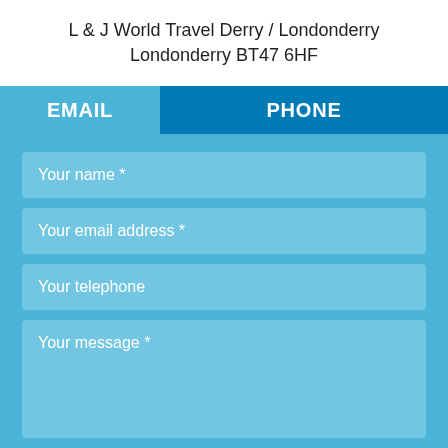L & J World Travel Derry / Londonderry
Londonderry BT47 6HF
EMAIL   PHONE
Your name *
Your email address *
Your telephone
Your message *